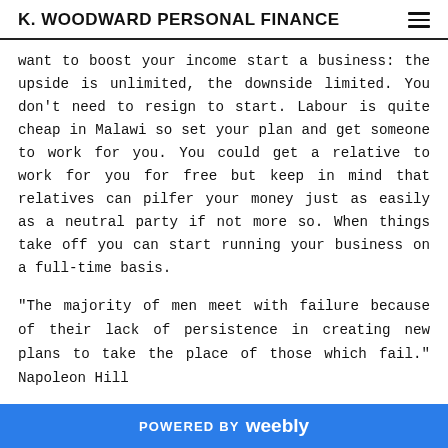K. WOODWARD PERSONAL FINANCE
want to boost your income start a business: the upside is unlimited, the downside limited. You don’t need to resign to start. Labour is quite cheap in Malawi so set your plan and get someone to work for you. You could get a relative to work for you for free but keep in mind that relatives can pilfer your money just as easily as a neutral party if not more so. When things take off you can start running your business on a full-time basis.
“The majority of men meet with failure because of their lack of persistence in creating new plans to take the place of those which fail.” Napoleon Hill
POWERED BY weebly